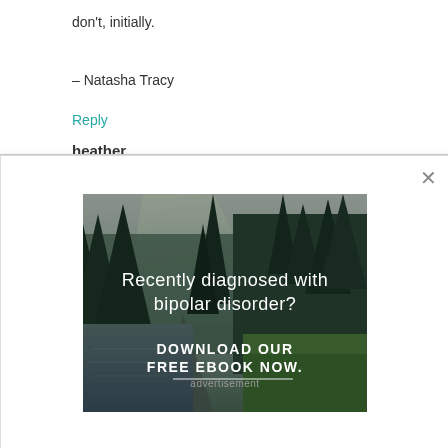don't, initially.
– Natasha Tracy
Reply
heather
[Figure (photo): Advertisement modal overlay showing a forest/river landscape photo with text 'Recently diagnosed with bipolar disorder? DOWNLOAD OUR FREE EBOOK NOW.' White X close button in top right corner.]
advertisement